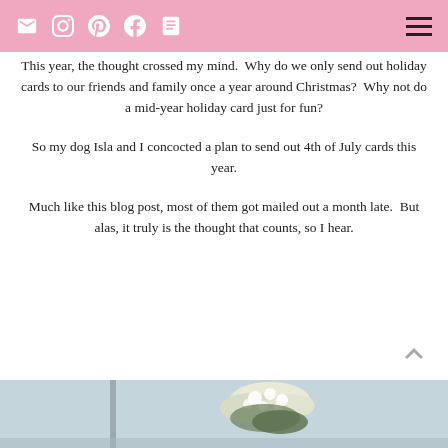Social media icons and navigation menu
This year, the thought crossed my mind.  Why do we only send out holiday cards to our friends and family once a year around Christmas?  Why not do a mid-year holiday card just for fun?
So my dog Isla and I concocted a plan to send out 4th of July cards this year.
Much like this blog post, most of them got mailed out a month late.  But alas, it truly is the thought that counts, so I hear.
[Figure (photo): Photo showing flowers (white blooms) against a light blue/grey background, partially visible at bottom of page]